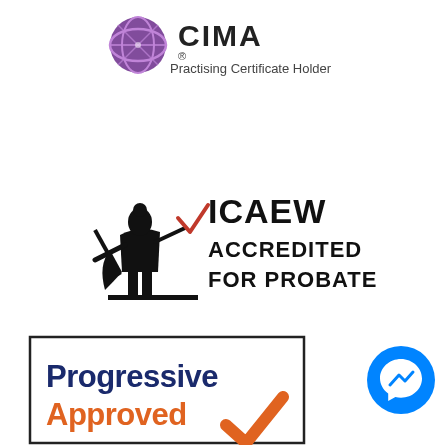[Figure (logo): CIMA Practising Certificate Holder logo with purple globe icon and text]
[Figure (logo): ICAEW Accredited for Probate logo with standing figure holding a sword and ICAEW text]
[Figure (logo): Progressive Approved logo with navy blue text and orange checkmark, inside a rectangular border]
[Figure (logo): Facebook Messenger blue circle icon with lightning bolt chat symbol]